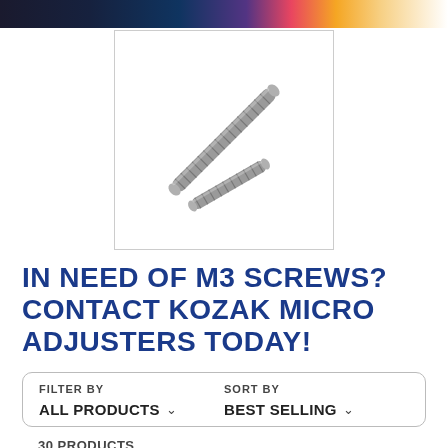[Figure (photo): Two metal M3 set screws (threaded rods) arranged diagonally on a white background inside a bordered box]
IN NEED OF M3 SCREWS? CONTACT KOZAK MICRO ADJUSTERS TODAY!
FILTER BY   SORT BY
ALL PRODUCTS  ∨  BEST SELLING  ∨
30 PRODUCTS